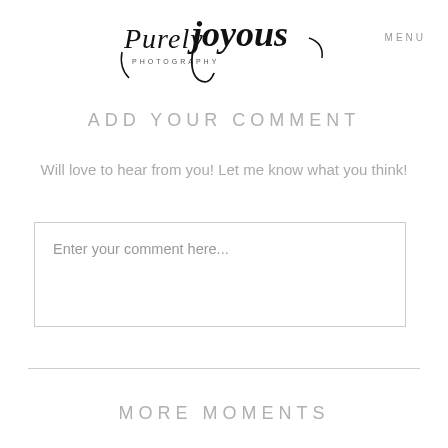[Figure (logo): Purely Joyous Photography handwritten script logo]
MENU
ADD YOUR COMMENT
Will love to hear from you! Let me know what you think!
Enter your comment here...
MORE MOMENTS